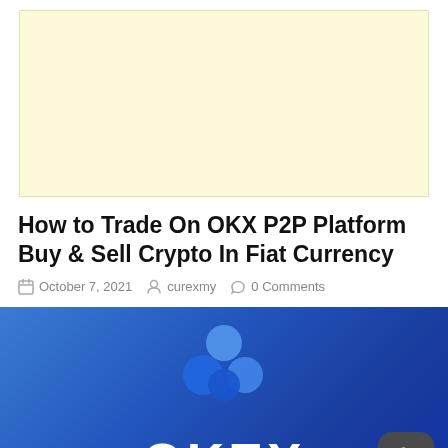[Figure (other): Light yellow advertisement banner placeholder]
How to Trade On OKX P2P Platform Buy & Sell Crypto In Fiat Currency
October 7, 2021  curexmy  0 Comments
[Figure (illustration): OKX logo banner with blue gradient background showing OKX text in white and circular logo marks above, with a dark mode toggle button in bottom right corner]